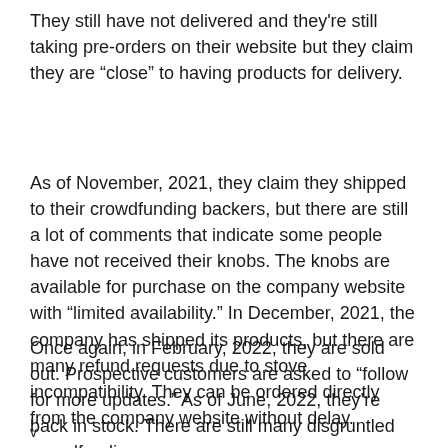They still have not delivered and they're still taking pre-orders on their website but they claim they are “close” to having products for delivery.
As of November, 2021, they claim they shipped to their crowdfunding backers, but there are still a lot of comments that indicate some people have not received their knobs. The knobs are available for purchase on the company website with “limited availability.” In December, 2021, the company has shipped its products, but there are many refund requests due to stove incompatibility. They can be ordered directly from the company website without delay.
Once again, in February, 2022, they are sold out. Prospective customers are asked to “follow for more updates.” As of June, 2022, they’re back in stock. There are still many disgruntled crowdfunding
v